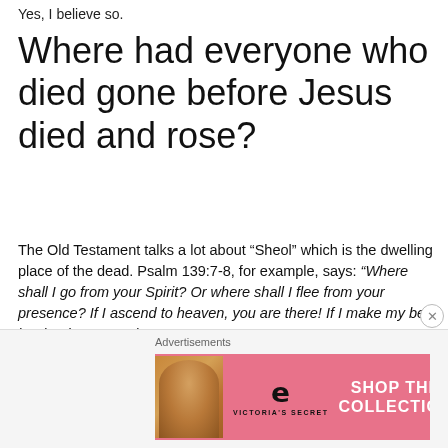Yes, I believe so.
Where had everyone who died gone before Jesus died and rose?
The Old Testament talks a lot about “Sheol” which is the dwelling place of the dead. Psalm 139:7-8, for example, says: “Where shall I go from your Spirit? Or where shall I flee from your presence? If I ascend to heaven, you are there! If I make my bed in Sheol, you are there!”
[Figure (other): Victoria's Secret advertisement banner showing a woman model on the left, VS logo in center-left, 'SHOP THE COLLECTION' text in white on pink background, and a 'SHOP NOW' white button on the right. Labeled 'Advertisements' above.]